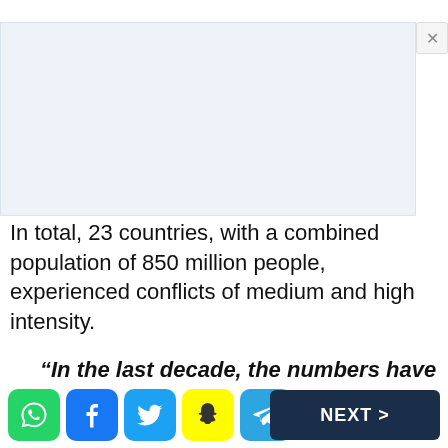[Figure (other): Light blue advertisement banner placeholder with close (×) button in top right corner]
In total, 23 countries, with a combined population of 850 million people, experienced conflicts of medium and high intensity.
“In the last decade, the numbers have increased every year. If the international
[Figure (other): Bottom navigation bar with social sharing icons (WhatsApp, Facebook, Twitter, Snapchat, Telegram) and a NEXT > button]